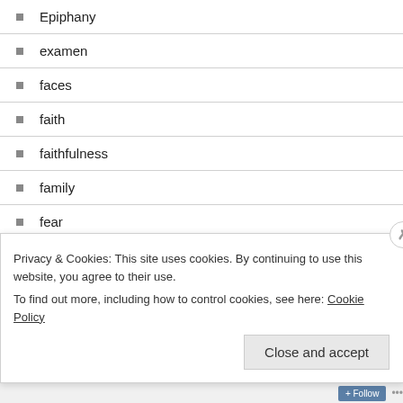Epiphany
examen
faces
faith
faithfulness
family
fear
food
freedom
friendship
gifts
Privacy & Cookies: This site uses cookies. By continuing to use this website, you agree to their use.
To find out more, including how to control cookies, see here: Cookie Policy
Close and accept